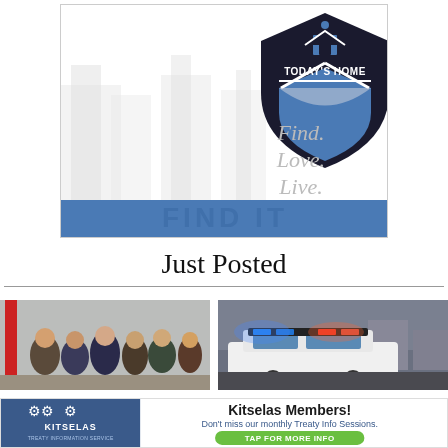[Figure (logo): Today's Home advertisement banner with shield logo containing a house icon and text 'TODAY'S HOME', tagline 'Find. Love. Live.' on white background with faded city silhouette watermark, and a blue bar at the bottom with 'FIND IT' text]
Just Posted
[Figure (photo): Group photo of several people standing together at an event, with a red flag/banner visible on the left]
[Figure (photo): Police/emergency vehicle with flashing blue and red lights on top]
[Figure (infographic): Kitselas Members advertisement banner with Kitselas Treaty Information Service logo on left, text: 'Kitselas Members! Don't miss our monthly Treaty Info Sessions.' and a green button 'TAP FOR MORE INFO']